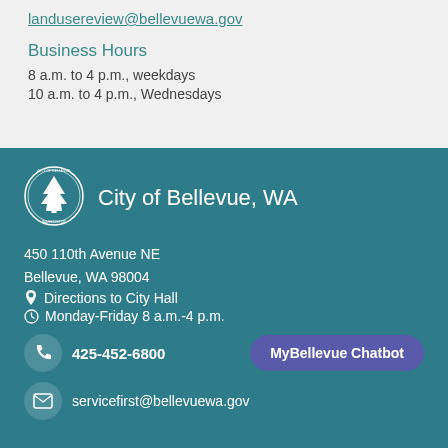landusereview@bellevuewa.gov
Business Hours
8 a.m. to 4 p.m., weekdays
10 a.m. to 4 p.m., Wednesdays
[Figure (logo): City of Bellevue, Washington circular seal with evergreen tree]
City of Bellevue, WA
450 110th Avenue NE
Bellevue, WA 98004
Directions to City Hall
Monday-Friday 8 a.m.-4 p.m.
425-452-6800
MyBellevue Chatbot
servicefirst@bellevuewa.gov